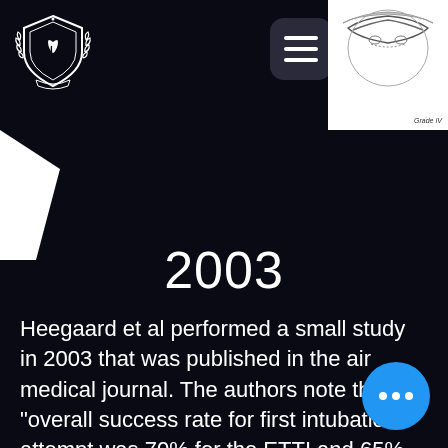[Figure (logo): Medical organization shield logo with laurel wreath, white on dark background, top-left corner]
[Figure (illustration): Anatomical illustration of laryngoscopy view showing airway grade, labeled 'Grade IV', white background, top-right corner]
2003
Heegaard et al performed a small study in 2003 that was published in the air medical journal. The authors note that the "overall success rate for first intubation attempt was 70% for the ETTI and 65% SOTI (P =.67). Total intubation time was 62 seconds (95% CI = 16-108) for the ETTI versus 62 seconds (95% CI = 38-86) for SOTI (P =.4). The ETTI group had a higher percentage of